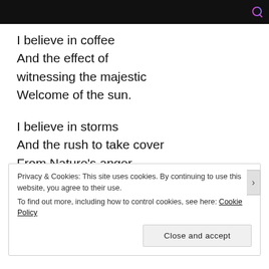[Figure (screenshot): Black header bar with a Q logo in the top-right corner]
I believe in coffee
And the effect of
witnessing the majestic
Welcome of the sun.
I believe in storms
And the rush to take cover
From Nature’s anger
Or blessing,
Privacy & Cookies: This site uses cookies. By continuing to use this website, you agree to their use.
To find out more, including how to control cookies, see here: Cookie Policy
Close and accept